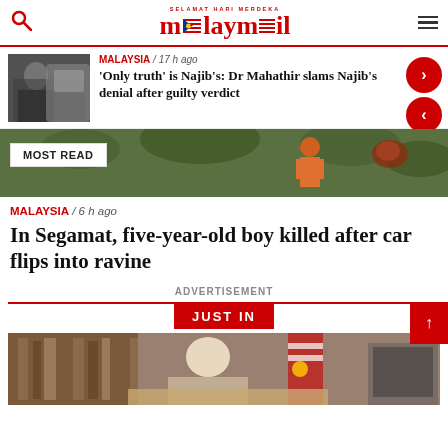Malay Mail — SELAMAT HARI MERDEKA
MALAYSIA / 17 h ago
'Only truth' is Najib's: Dr Mahathir slams Najib's denial after guilty verdict
MOST READ
MALAYSIA / 6 h ago
In Segamat, five-year-old boy killed after car flips into ravine
ADVERTISEMENT
JUST IN
[Figure (photo): Person in suit exiting car, photo thumbnail for news article]
[Figure (photo): Person in orange shirt in jungle/plantation setting, most read banner image]
[Figure (photo): Elderly man seated at desk with Malaysian flag in background, Just In section]